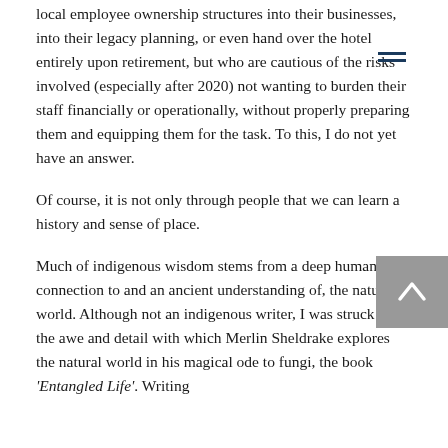local employee ownership structures into their businesses, into their legacy planning, or even hand over the hotel entirely upon retirement, but who are cautious of the risks involved (especially after 2020) not wanting to burden their staff financially or operationally, without properly preparing them and equipping them for the task. To this, I do not yet have an answer.
Of course, it is not only through people that we can learn a history and sense of place.
Much of indigenous wisdom stems from a deep human connection to and an ancient understanding of, the natural world. Although not an indigenous writer, I was struck by the awe and detail with which Merlin Sheldrake explores the natural world in his magical ode to fungi, the book ‘Entangled Life’. Writing about his pioneering studies of how mycinal